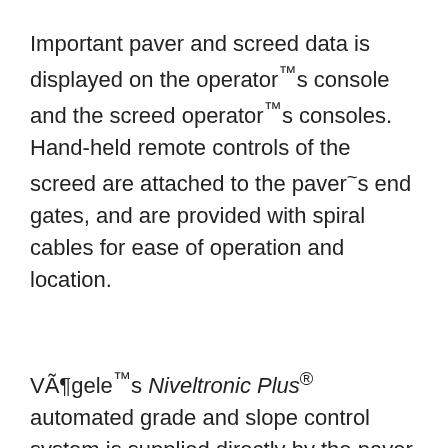Important paver and screed data is displayed on the operator™s console and the screed operator™s consoles. Hand-held remote controls of the screed are attached to the paver~s end gates, and are provided with spiral cables for ease of operation and location.
VÃ¶gele™s Niveltronic Plus® automated grade and slope control system is supplied directly by the paver manufacturer, so machine technology and grade and slope control are matched natively for smooth, perfect riding surfaces and bonuses. The system™s wiring and connections are integrated